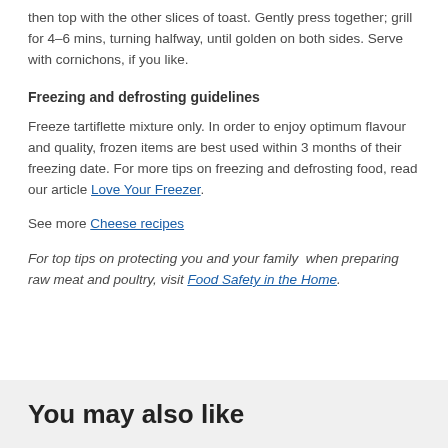then top with the other slices of toast. Gently press together; grill for 4–6 mins, turning halfway, until golden on both sides. Serve with cornichons, if you like.
Freezing and defrosting guidelines
Freeze tartiflette mixture only. In order to enjoy optimum flavour and quality, frozen items are best used within 3 months of their freezing date. For more tips on freezing and defrosting food, read our article Love Your Freezer.
See more Cheese recipes
For top tips on protecting you and your family when preparing raw meat and poultry, visit Food Safety in the Home.
You may also like